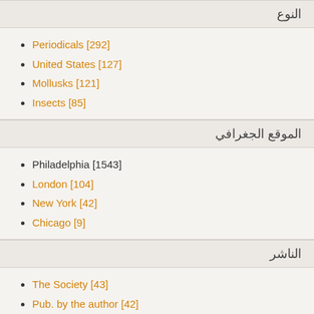النوع
Periodicals [292]
United States [127]
Mollusks [121]
Insects [85]
الموقع الجغرافي
Philadelphia [1543]
London [104]
New York [42]
Chicago [9]
الناشر
The Society [43]
Pub. by the author [42]
P. Blakiston's son &amp; co. [34]